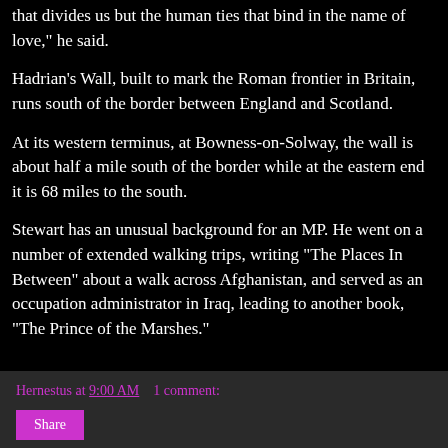that divides us but the human ties that bind in the name of love," he said.
Hadrian's Wall, built to mark the Roman frontier in Britain, runs south of the border between England and Scotland.
At its western terminus, at Bowness-on-Solway, the wall is about half a mile south of the border while at the eastern end it is 68 miles to the south.
Stewart has an unusual background for an MP. He went on a number of extended walking trips, writing "The Places In Between" about a walk across Afghanistan, and served as an occupation administrator in Iraq, leading to another book, "The Prince of the Marshes."
Hernestus at 9:00 AM   1 comment: